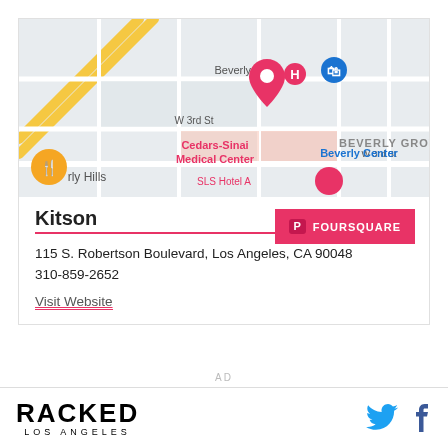[Figure (map): Google Maps screenshot showing Beverly Grove area of Los Angeles, with Cedars-Sinai Medical Center, Beverly Center, and a pink location pin marker visible. Streets include Beverly Blvd and W 3rd St.]
Kitson
115 S. Robertson Boulevard, Los Angeles, CA 90048
310-859-2652
Visit Website
RACKED LOS ANGELES